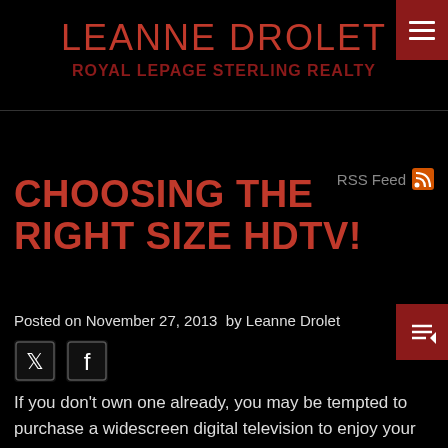LEANNE DROLET
ROYAL LEPAGE STERLING REALTY
CHOOSING THE RIGHT SIZE HDTV!
Posted on November 27, 2013 by Leanne Drolet
[Figure (other): Twitter and Facebook social share icons]
If you don't own one already, you may be tempted to purchase a widescreen digital television to enjoy your favourite movies, shows and sports programs. However, it can be difficult to select the right screen size, especially if you've been accustomed to viewing a TV with a traditional 4:3 screen.
When it comes to size, there are many factors that come into play, such as screen resolution and